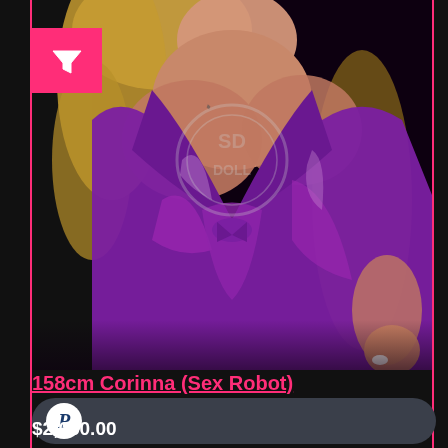[Figure (photo): Woman wearing purple/violet satin halter dress with deep V neckline, blonde hair, black background. Watermark 'SD DOLL' visible.]
158cm Corinna (Sex Robot)
[Figure (logo): PayPal button in a dark rounded rectangle bar]
$2,650.00